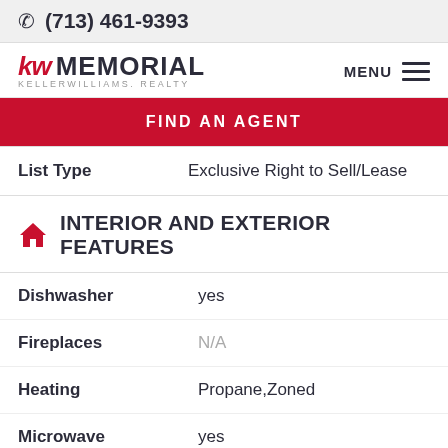(713) 461-9393
[Figure (logo): Keller Williams Memorial Realty logo with red KW mark and MEMORIAL text]
FIND AN AGENT
| Field | Value |
| --- | --- |
| List Type | Exclusive Right to Sell/Lease |
INTERIOR AND EXTERIOR FEATURES
| Feature | Value |
| --- | --- |
| Dishwasher | yes |
| Fireplaces | N/A |
| Heating | Propane,Zoned |
| Microwave | yes |
| Roof | N/A |